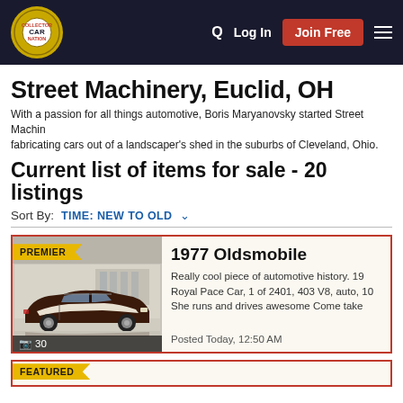Collector Car Nation — Log In | Join Free
Street Machinery, Euclid, OH
With a passion for all things automotive, Boris Maryanovsky started Street Machinery fabricating cars out of a landscaper's shed in the suburbs of Cleveland, Ohio. From Machinery into one of the Midwest's oldest and most respected one-stop hot rod
Current list of items for sale - 20 listings
Sort By: TIME: NEW TO OLD
PREMIER
1977 Oldsmobile
Really cool piece of automotive history. 19 Royal Pace Car, 1 of 2401, 403 V8, auto, 10 She runs and drives awesome Come take
Posted Today, 12:50 AM
FEATURED